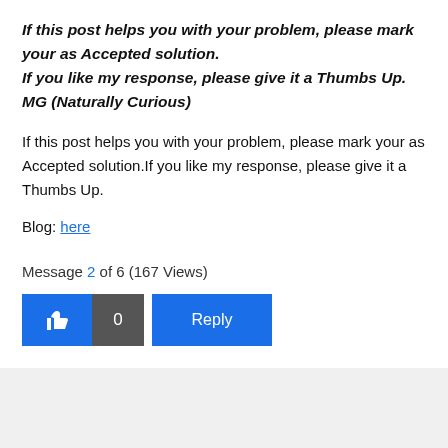If this post helps you with your problem, please mark your as Accepted solution.
If you like my response, please give it a Thumbs Up.
MG (Naturally Curious)
If this post helps you with your problem, please mark your as Accepted solution.If you like my response, please give it a Thumbs Up.
Blog: here
Message 2 of 6 (167 Views)